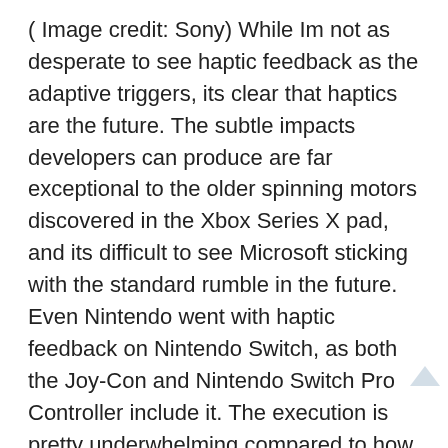( Image credit: Sony) While Im not as desperate to see haptic feedback as the adaptive triggers, its clear that haptics are the future. The subtle impacts developers can produce are far exceptional to the older spinning motors discovered in the Xbox Series X pad, and its difficult to see Microsoft sticking with the standard rumble in the future.
Even Nintendo went with haptic feedback on Nintendo Switch, as both the Joy-Con and Nintendo Switch Pro Controller include it. The execution is pretty underwhelming compared to how its executed in the DualSense, however, however its still capable of offering some amazing minutes, like how it can mimic the experience of moving balls inside the controller when playing 1-2-Switch..
Again, Im skeptical that Microsoft will include haptic feedback anytime soon, but I d be amazed if it wasnt included in the next Xbox controller.